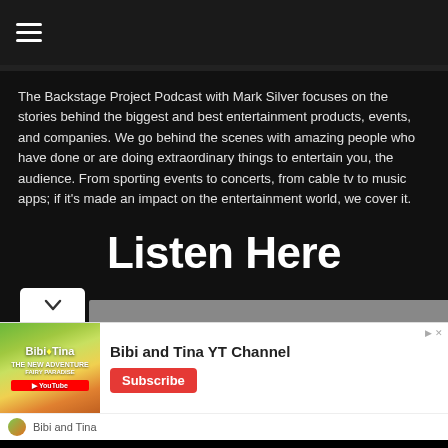≡ (navigation hamburger menu)
The Backstage Project Podcast with Mark Silver focuses on the stories behind the biggest and best entertainment products, events, and companies. We go behind the scenes with amazing people who have done or are doing extraordinary things to entertain you, the audience. From sporting events to concerts, from cable tv to music apps; if it's made an impact on the entertainment world, we cover it.
Listen Here
[Figure (screenshot): Advertisement banner for Bibi and Tina YT Channel with Subscribe button]
Bibi and Tina